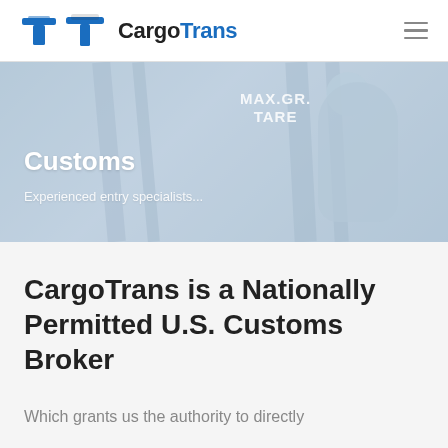CargoTrans
[Figure (photo): Hero banner image showing customs/cargo area with vertical structural bars and a person in background. Overlay text reads 'Customs' and 'Experienced entry specialists...' and a sign reading 'MAX.GR. TARE']
CargoTrans is a Nationally Permitted U.S. Customs Broker
Which grants us the authority to directly